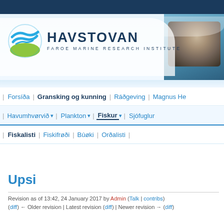[Figure (logo): Havstovan Faroe Marine Research Institute logo with circular wave/fish graphic in blue and green, and a photo of marine research activity in top-right corner]
Forsíða | Gransking og kunning | Ráðgeving | Magnus He...
Havumhvørvið ▾ | Plankton ▾ | Fiskur ▾ | Sjófuglur
Fiskalisti | Fiskifrøði | Búøki | Orðalisti |
Upsi
Revision as of 13:42, 24 January 2017 by Admin (Talk | contribs)
(diff) ← Older revision | Latest revision (diff) | Newer revision → (diff)